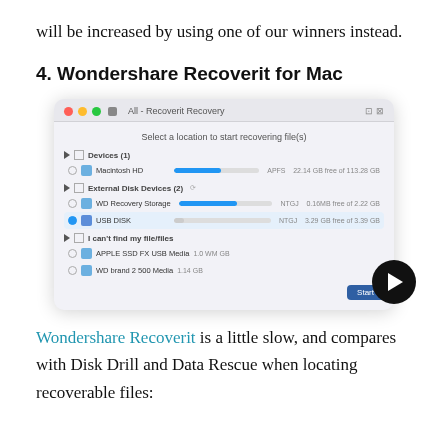will be increased by using one of our winners instead.
4. Wondershare Recoverit for Mac
[Figure (screenshot): Screenshot of the Wondershare Recoverit for Mac application showing a location selection screen to start recovering files, with a list of drives including Macintosh HD and external drives, with a Start button at the bottom right and a play button overlay.]
Wondershare Recoverit is a little slow, and compares with Disk Drill and Data Rescue when locating recoverable files: